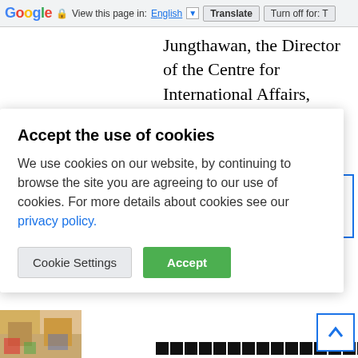Google | View this page in: English | Translate | Turn off for: T
Jungthawan, the Director of the Centre for International Affairs, together with Miss Wachira Keeratipianlerd and Miss Chompookun Chatdon participated in the "International...ff Week
Accept the use of cookies
We use cookies on our website, by continuing to browse the site you are agreeing to our use of cookies. For more details about cookies see our privacy policy.
Cookie Settings | Accept
bership, News, ound
[Figure (photo): Partial thumbnail image at bottom left]
□□□□□□□□□□□□□□□□□□